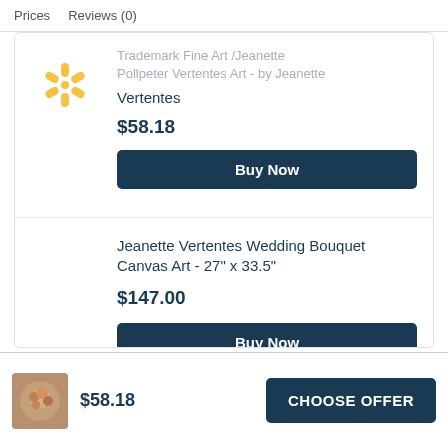Prices   Reviews (0)
Trademark Fine Art /Jeanette Pollpeter Vertentes Art - by Jeanette Vertentes
$58.18
Buy Now
Jeanette Vertentes Wedding Bouquet Canvas Art - 27" x 33.5"
$147.00
Buy Now
$58.18
CHOOSE OFFER